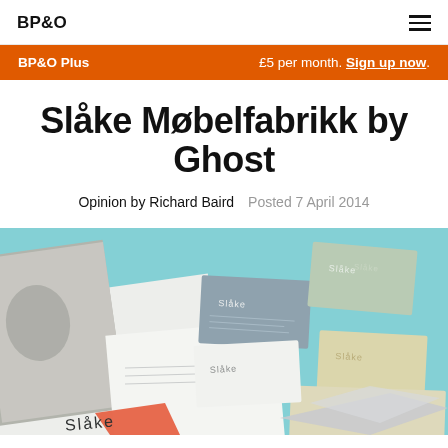BP&O
BP&O Plus   £5 per month. Sign up now.
Slåke Møbelfabrikk by Ghost
Opinion by Richard Baird   Posted 7 April 2014
[Figure (photo): Branded stationery and business cards for Slåke Møbelfabrikk laid on a light blue background, showing business cards in grey, sage green, cream/yellow colors with the Slåke wordmark, alongside a catalogue and letterhead.]